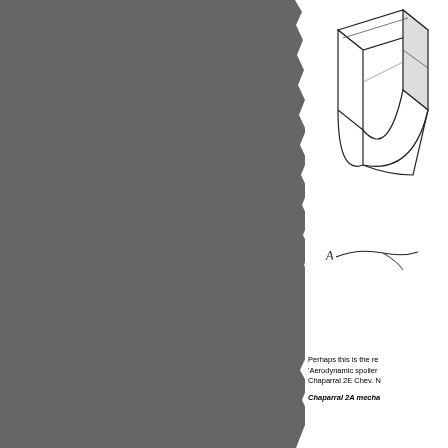[Figure (illustration): Technical illustration of an aerodynamic spoiler component — a wedge/block-shaped part shown in perspective with a curved lower section, with a handwritten-style signature or annotation below it.]
Perhaps this is the re 'Aerodynamic spoiler Chaparral 2E Chev. N
Chaparral 2A mecha